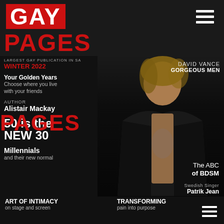GAY PAGES
[Figure (photo): Magazine cover of Gay Pages Winter 2022 showing a tattooed male model in a black blazer with Calvin Klein underwear visible, against a dark background.]
DAVID VANCE
GORGEOUS MEN
PAGES
LARGEST GAY PUBLICATION IN SA
WINTER 2022
Your Golden Years
Choose where you live with your friends
AUTHOR
Alistair Mackay
50 is the NEW 30
Millennials
and their new normal
The ABC of BDSM
Swedish Singer
Patrik Jean
ART OF INTIMACY
on stage and screen
TRANSFORMING
pain into purpose